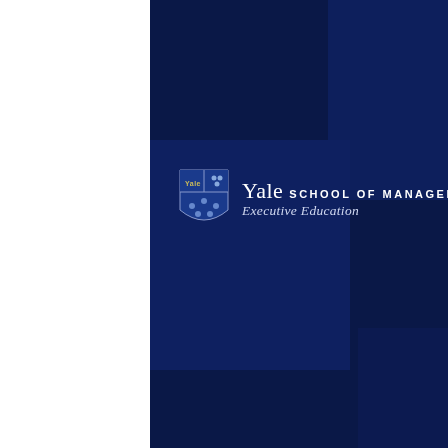[Figure (logo): Yale School of Management Executive Education logo on dark navy blue geometric background cover page]